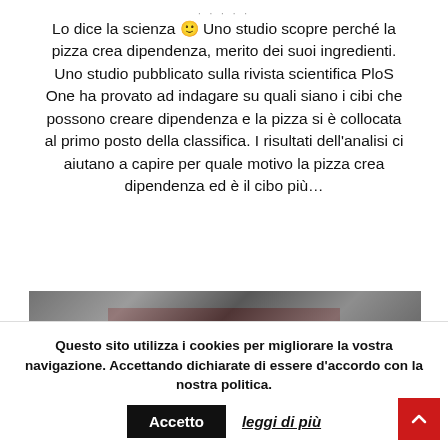Lo dice la scienza 🙂 Uno studio scopre perché la pizza crea dipendenza, merito dei suoi ingredienti. Uno studio pubblicato sulla rivista scientifica PloS One ha provato ad indagare su quali siano i cibi che possono creare dipendenza e la pizza si è collocata al primo posto della classifica. I risultati dell'analisi ci aiutano a capire per quale motivo la pizza crea dipendenza ed è il cibo più…
[Figure (other): READ MORE button — red rectangle with white uppercase text]
[Figure (photo): Blurred dark image, partially visible at bottom of content area]
Questo sito utilizza i cookies per migliorare la vostra navigazione. Accettando dichiarate di essere d'accordo con la nostra politica.
Accetto   leggi di più